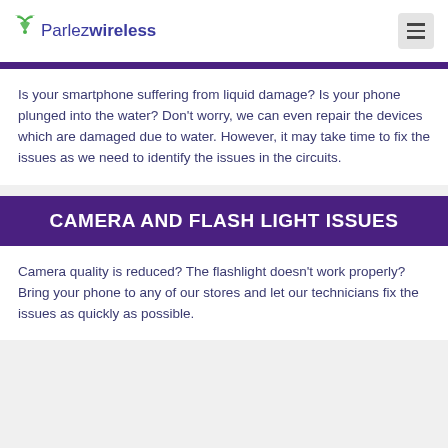Parlez wireless
Is your smartphone suffering from liquid damage? Is your phone plunged into the water? Don't worry, we can even repair the devices which are damaged due to water. However, it may take time to fix the issues as we need to identify the issues in the circuits.
CAMERA AND FLASH LIGHT ISSUES
Camera quality is reduced? The flashlight doesn't work properly? Bring your phone to any of our stores and let our technicians fix the issues as quickly as possible.